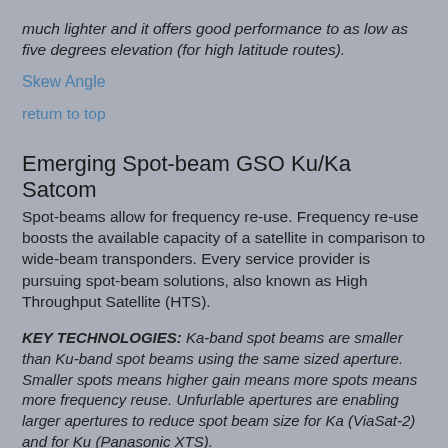much lighter and it offers good performance to as low as five degrees elevation (for high latitude routes).
Skew Angle
return to top
Emerging Spot-beam GSO Ku/Ka Satcom
Spot-beams allow for frequency re-use.  Frequency re-use boosts the available capacity of a satellite in comparison to wide-beam transponders.  Every service provider is pursuing spot-beam solutions, also known as High Throughput Satellite (HTS).
KEY TECHNOLOGIES: Ka-band spot beams are smaller than Ku-band spot beams using the same sized aperture.  Smaller spots means higher gain means more spots means more frequency reuse.  Unfurlable apertures are enabling larger apertures to reduce spot beam size for Ka (ViaSat-2) and for Ku (Panasonic XTS).